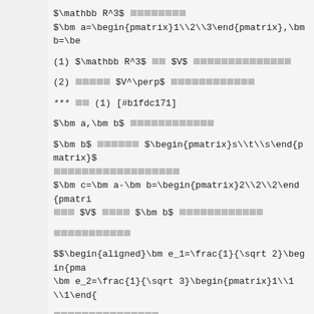$\mathbb R^3$ □□□□□□□□
$\bm a=\begin{pmatrix}1\\2\\3\end{pmatrix},\bm b=\be
(1) $\mathbb R^3$ □□ $V$ □□□□□□□□□□□□□□
(2) □□□□□ $V^\perp$ □□□□□□□□□□□□
*** □□ (1) [#b1fdc171]
$\bm a,\bm b$ □□□□□□□□□□□□
$\bm b$ □□□□□□ $\begin{pmatrix}s\\t\\s\end{pmatrix}$
□□□□□□□□□□□□□□□□□□
$\bm c=\bm a-\bm b=\begin{pmatrix}2\\2\\2\end{pmatri
□□□ $V$ □□□□ $\bm b$ □□□□□□□□□□□□
□□□□□□□□□□□
□□□□□□□□□□□□□□□
□□□□□□□□□□□□□□□